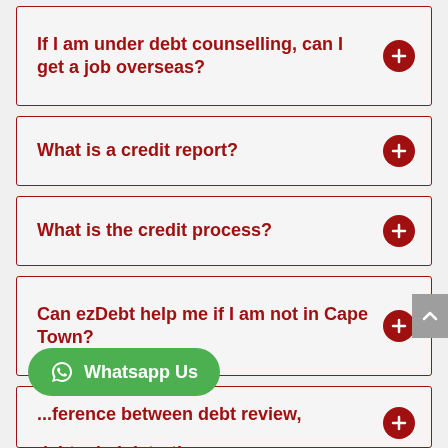If I am under debt counselling, can I get a job overseas?
What is a credit report?
What is the credit process?
Can ezDebt help me if I am not in Cape Town?
...ference between debt review,